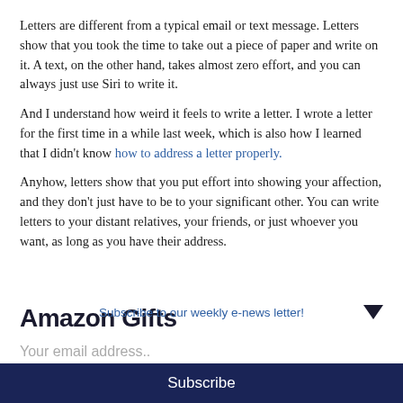Letters are different from a typical email or text message. Letters show that you took the time to take out a piece of paper and write on it. A text, on the other hand, takes almost zero effort, and you can always just use Siri to write it.
And I understand how weird it feels to write a letter. I wrote a letter for the first time in a while last week, which is also how I learned that I didn't know how to address a letter properly.
Anyhow, letters show that you put effort into showing your affection, and they don't just have to be to your significant other. You can write letters to your distant relatives, your friends, or just whoever you want, as long as you have their address.
Amazon Gifts
Subscribe to our weekly e-news letter!
Your email address..
Subscribe